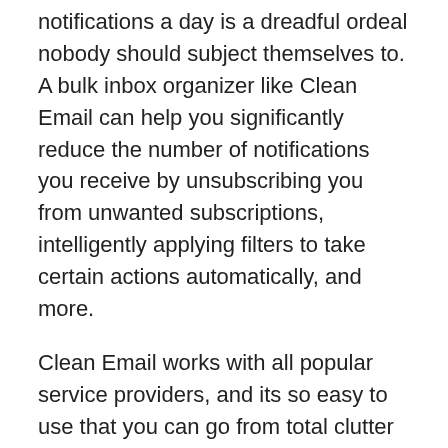notifications a day is a dreadful ordeal nobody should subject themselves to. A bulk inbox organizer like Clean Email can help you significantly reduce the number of notifications you receive by unsubscribing you from unwanted subscriptions, intelligently applying filters to take certain actions automatically, and more.
Clean Email works with all popular service providers, and its so easy to use that you can go from total clutter to Inbox Zero in just a few clicks. First, you need to tell Clean Email, Go to my email inbox and organize my emails into easy-to-review bundles. You can then remove, archive, move, label, and take other actions on these bundles as you see fit. Finally, Clean Email gives you the option to apply your actions automatically in the future so you dont have to repeat them ever again.
Unsubscribing from annoying subscription emails is